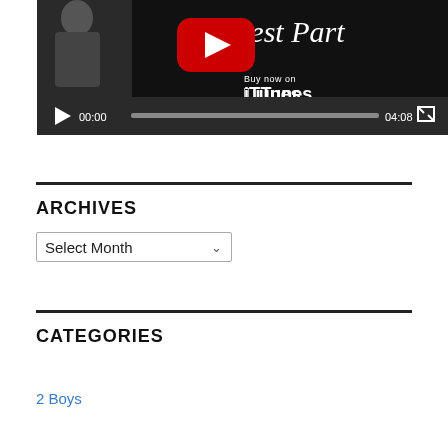[Figure (screenshot): YouTube video player screenshot showing a music video titled 'Best Part' with iTunes buy link, video controls showing time 00:00 and duration 04:08]
ARCHIVES
Select Month (dropdown)
CATEGORIES
2 Boys